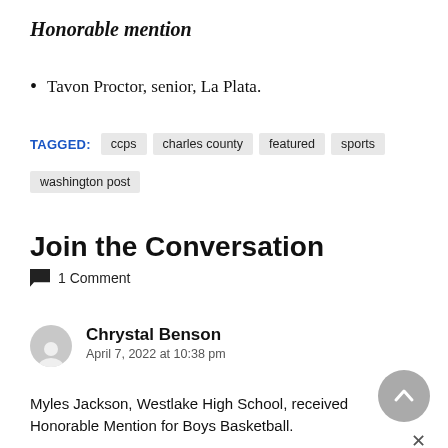Honorable mention
Tavon Proctor, senior, La Plata.
TAGGED: ccps  charles county  featured  sports  washington post
Join the Conversation
1 Comment
Chrystal Benson
April 7, 2022 at 10:38 pm
Myles Jackson, Westlake High School, received Honorable Mention for Boys Basketball.